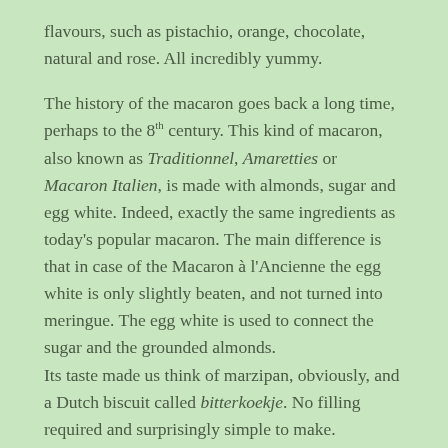flavours, such as pistachio, orange, chocolate, natural and rose. All incredibly yummy.
The history of the macaron goes back a long time, perhaps to the 8th century. This kind of macaron, also known as Traditionnel, Amaretties or Macaron Italien, is made with almonds, sugar and egg white. Indeed, exactly the same ingredients as today's popular macaron. The main difference is that in case of the Macaron à l'Ancienne the egg white is only slightly beaten, and not turned into meringue. The egg white is used to connect the sugar and the grounded almonds.
Its taste made us think of marzipan, obviously, and a Dutch biscuit called bitterkoekje. No filling required and surprisingly simple to make.
What You Need